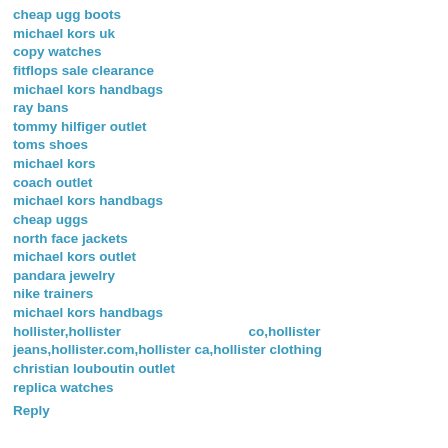cheap ugg boots
michael kors uk
copy watches
fitflops sale clearance
michael kors handbags
ray bans
tommy hilfiger outlet
toms shoes
michael kors
coach outlet
michael kors handbags
cheap uggs
north face jackets
michael kors outlet
pandara jewelry
nike trainers
michael kors handbags
hollister,hollister                          co,hollister jeans,hollister.com,hollister ca,hollister clothing
christian louboutin outlet
replica watches
Reply